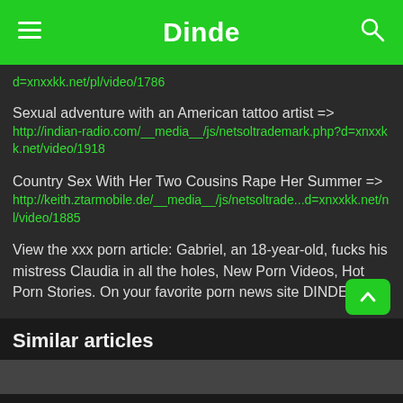Dinde
d=xnxxkk.net/pl/video/1786
Sexual adventure with an American tattoo artist =>
http://indian-radio.com/__media__/js/netsoltrademark.php?d=xnxxkk.net/video/1918
Country Sex With Her Two Cousins Rape Her Summer =>
http://keith.ztarmobile.de/__media__/js/netsoltrademark...d=xnxxkk.net/nl/video/1885
View the xxx porn article: Gabriel, an 18-year-old, fucks his mistress Claudia in all the holes, New Porn Videos, Hot Porn Stories. On your favorite porn news site DINDE.INFO!
Similar articles